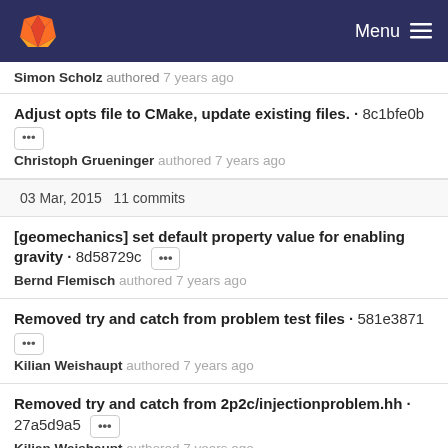GitLab — Menu
Simon Scholz authored 7 years ago
Adjust opts file to CMake, update existing files. · 8c1bfe0b
Christoph Grueninger authored 7 years ago
03 Mar, 2015 11 commits
[geomechanics] set default property value for enabling gravity · 8d58729c
Bernd Flemisch authored 7 years ago
Removed try and catch from problem test files · 581e3871
Kilian Weishaupt authored 7 years ago
Removed try and catch from 2p2c/injectionproblem.hh · 27a5d9a5
Kilian Weishaupt authored 7 years ago